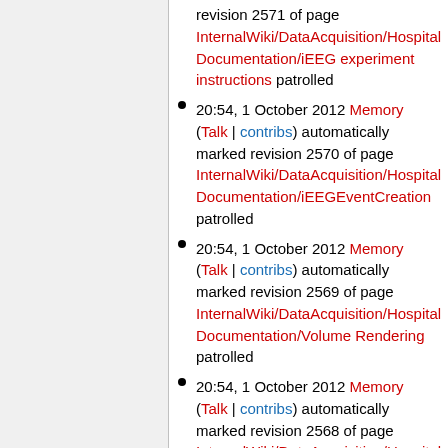revision 2571 of page InternalWiki/DataAcquisition/Hospital Documentation/iEEG experiment instructions patrolled
20:54, 1 October 2012 Memory (Talk | contribs) automatically marked revision 2570 of page InternalWiki/DataAcquisition/Hospital Documentation/iEEGEventCreation patrolled
20:54, 1 October 2012 Memory (Talk | contribs) automatically marked revision 2569 of page InternalWiki/DataAcquisition/Hospital Documentation/Volume Rendering patrolled
20:54, 1 October 2012 Memory (Talk | contribs) automatically marked revision 2568 of page InternalWiki/DataAcquisition/Hospital